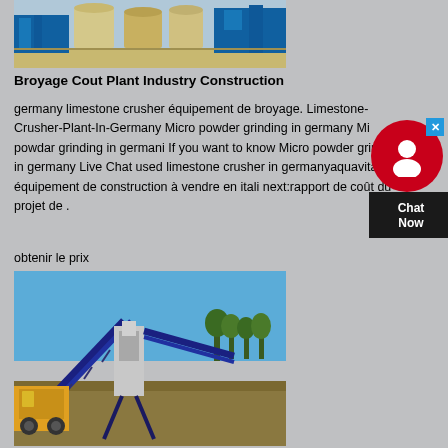[Figure (photo): Industrial plant/construction facility with large cylindrical tanks and blue industrial structures on sandy ground]
Broyage Cout Plant Industry Construction
germany limestone crusher équipement de broyage. Limestone-Crusher-Plant-In-Germany Micro powder grinding in germany Micro powdar grinding in germani If you want to know Micro powder grinding in germany Live Chat used limestone crusher in germanyaquavita . équipement de construction à vendre en itali next:rapport de coût du projet de .
obtenir le prix
[Figure (photo): Mobile mining/crushing equipment with conveyor belts on a construction site under blue sky]
Micro Broyage Cin de la Vin Caracter Al Di...